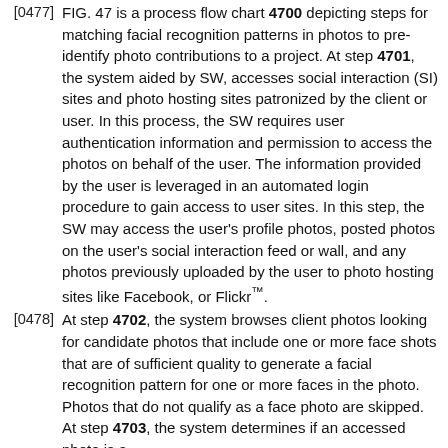FIG. 47 is a process flow chart 4700 depicting steps for matching facial recognition patterns in photos to pre-identify photo contributions to a project. At step 4701, the system aided by SW, accesses social interaction (SI) sites and photo hosting sites patronized by the client or user. In this process, the SW requires user authentication information and permission to access the photos on behalf of the user. The information provided by the user is leveraged in an automated login procedure to gain access to user sites. In this step, the SW may access the user's profile photos, posted photos on the user's social interaction feed or wall, and any photos previously uploaded by the user to photo hosting sites like Facebook, or Flickr™.
At step 4702, the system browses client photos looking for candidate photos that include one or more face shots that are of sufficient quality to generate a facial recognition pattern for one or more faces in the photo. Photos that do not qualify as a face photo are skipped. At step 4703, the system determines if an accessed photo is a